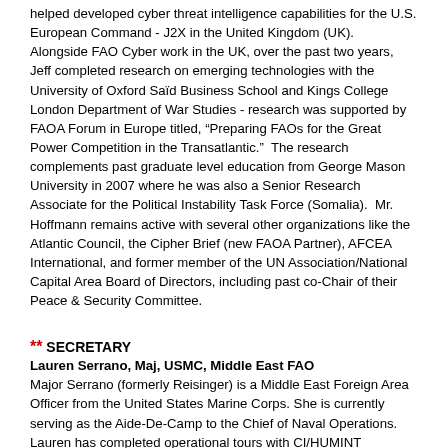helped developed cyber threat intelligence capabilities for the U.S. European Command - J2X in the United Kingdom (UK).  Alongside FAO Cyber work in the UK, over the past two years, Jeff completed research on emerging technologies with the University of Oxford Saïd Business School and Kings College London Department of War Studies - research was supported by FAOA Forum in Europe titled, "Preparing FAOs for the Great Power Competition in the Transatlantic."  The research complements past graduate level education from George Mason University in 2007 where he was also a Senior Research Associate for the Political Instability Task Force (Somalia).  Mr. Hoffmann remains active with several other organizations like the Atlantic Council, the Cipher Brief (new FAOA Partner), AFCEA International, and former member of the UN Association/National Capital Area Board of Directors, including past co-Chair of their Peace & Security Committee.
** SECRETARY
Lauren Serrano, Maj, USMC, Middle East FAO
Major Serrano (formerly Reisinger) is a Middle East Foreign Area Officer from the United States Marine Corps. She is currently serving as the Aide-De-Camp to the Chief of Naval Operations. Lauren has completed operational tours with CI/HUMINT Company, 3d Intelligence Battalion in Okinawa, Japan, as well as the Office of Security Cooperation - Iraq (OSC-I). She completed a fellowship in the Junior Officer's Strategic Intelligence Program (JOSIP), followed by Fleet hours...